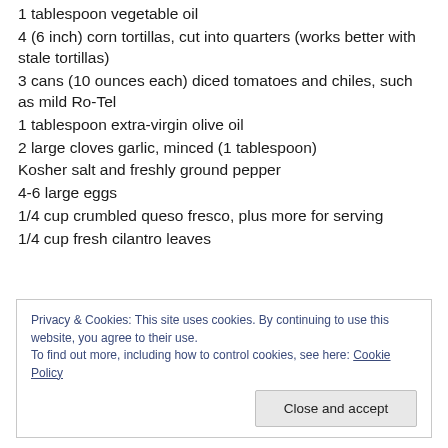1 tablespoon vegetable oil
4 (6 inch) corn tortillas, cut into quarters (works better with stale tortillas)
3 cans (10 ounces each) diced tomatoes and chiles, such as mild Ro-Tel
1 tablespoon extra-virgin olive oil
2 large cloves garlic, minced (1 tablespoon)
Kosher salt and freshly ground pepper
4-6 large eggs
1/4 cup crumbled queso fresco, plus more for serving
1/4 cup fresh cilantro leaves
Privacy & Cookies: This site uses cookies. By continuing to use this website, you agree to their use. To find out more, including how to control cookies, see here: Cookie Policy